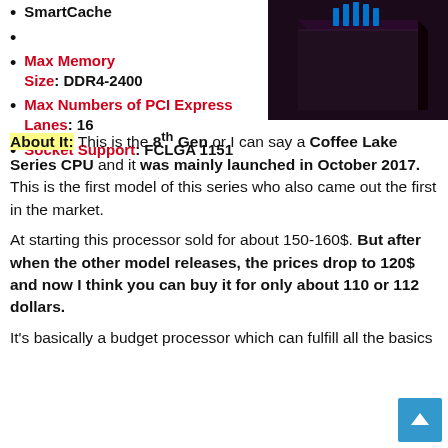[Figure (photo): Product box image of Intel processor (Coffee Lake series) shown from an angle, dark packaging with blue Intel logo visible at top]
SmartCache
Max Memory Size: DDR4-2400
Max Numbers of PCI Express Lanes: 16
Socket Support: FCLGA 1151
About It: This is the 8th Gen or I can say a Coffee Lake Series CPU and it was mainly launched in October 2017. This is the first model of this series who also came out the first in the market.
At starting this processor sold for about 150-160$. But after when the other model releases, the prices drop to 120$ and now I think you can buy it for only about 110 or 112 dollars.
It's basically a budget processor which can fulfill all the basics